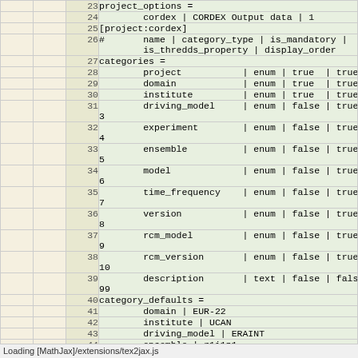|  |  | line | code |
| --- | --- | --- | --- |
|  |  | 23 | project_options = |
|  |  | 24 |         cordex | CORDEX Output data | 1 |
|  |  | 25 | [project:cordex] |
|  |  | 26 | #       name | category_type | is_mandatory |
        is_thredds_property | display_order |
|  |  | 27 | categories = |
|  |  | 28 |         project           | enum | true  | true  | 0 |
|  |  | 29 |         domain            | enum | true  | true  | 1 |
|  |  | 30 |         institute         | enum | true  | true  | 2 |
|  |  | 31 |         driving_model     | enum | false | true  |
3 |
|  |  | 32 |         experiment        | enum | false | true  |
4 |
|  |  | 33 |         ensemble          | enum | false | true  |
5 |
|  |  | 34 |         model             | enum | false | true  |
6 |
|  |  | 35 |         time_frequency    | enum | false | true  |
7 |
|  |  | 36 |         version           | enum | false | true  |
8 |
|  |  | 37 |         rcm_model         | enum | false | true  |
9 |
|  |  | 38 |         rcm_version       | enum | false | true  |
10 |
|  |  | 39 |         description       | text | false | false |
99 |
|  |  | 40 | category_defaults = |
|  |  | 41 |         domain | EUR-22 |
|  |  | 42 |         institute | UCAN |
|  |  | 43 |         driving_model | ERAINT |
|  |  | 44 |         ensemble | r1i1p1 |
|  |  | 45 |         ... | WRF331G |
|  |  | 46 |         time_frequency | mon |
Loading [MathJax]/extensions/tex2jax.js